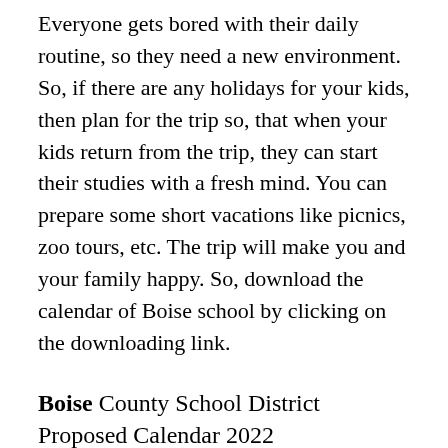Everyone gets bored with their daily routine, so they need a new environment. So, if there are any holidays for your kids, then plan for the trip so, that when your kids return from the trip, they can start their studies with a fresh mind. You can prepare some short vacations like picnics, zoo tours, etc. The trip will make you and your family happy. So, download the calendar of Boise school by clicking on the downloading link.
Boise County School District Proposed Calendar 2022
We have many more calendars of other schools like the Boise School District